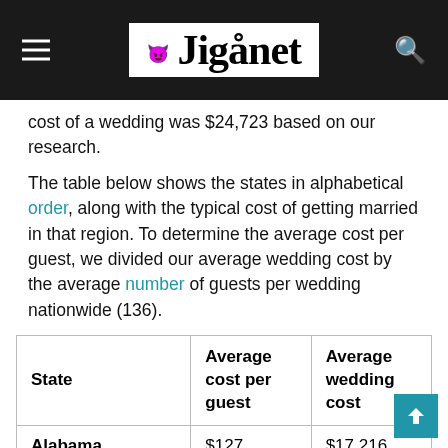Jiganet
cost of a wedding was $24,723 based on our research.
The table below shows the states in alphabetical order, along with the typical cost of getting married in that region. To determine the average cost per guest, we divided our average wedding cost by the average number of guests per wedding nationwide (136).
| State | Average cost per guest | Average wedding cost |
| --- | --- | --- |
| Alabama | $127 | $17,216 |
| Alaska | $252 | $34,298 |